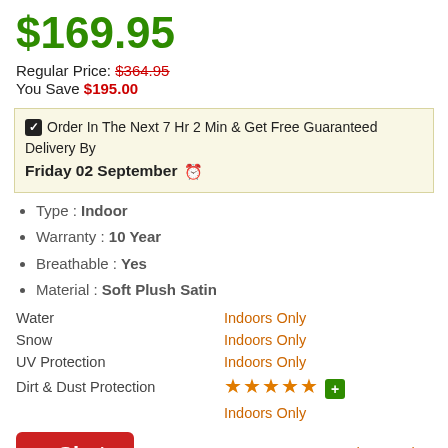$169.95
Regular Price: $364.95
You Save $195.00
☑ Order In The Next 7 Hr 2 Min & Get Free Guaranteed Delivery By Friday 02 September ⊙
Type : Indoor
Warranty : 10 Year
Breathable : Yes
Material : Soft Plush Satin
|  |  |
| --- | --- |
| Water | Indoors Only |
| Snow | Indoors Only |
| UV Protection | Indoors Only |
| Dirt & Dust Protection | ★★★★★+ |
|  | Indoors Only |
Chat
QTY : 1